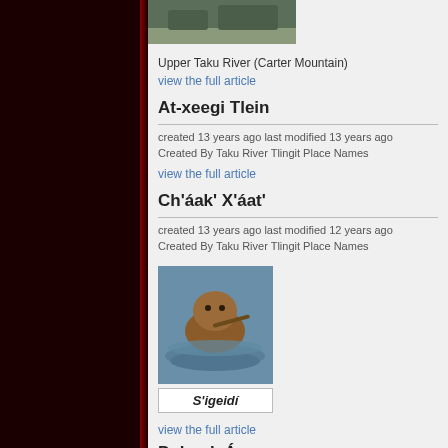[Figure (photo): Photo of Upper Taku River area]
Upper Taku River (Carter Mountain)
view the full article
At-xeegi Tlein
created 13 years ago last modified 13 years ago
Created By Taku River Tlingit Place Names
view the full article
Ch'áak' X'áat'
created 13 years ago last modified 12 years ago
Created By Taku River Tlingit Place Names
[Figure (photo): Photo of a beaver swimming in water holding a stick]
S'igeidí
view the full article
Dahyuk Áa